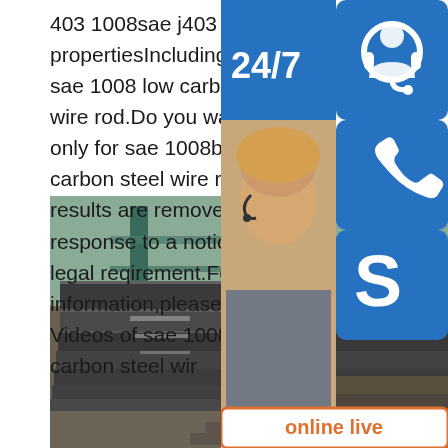403 1008sae j403 1008 steel propertiesIncluding results for sae 1008 low carbon steel wire rod.Do you want results only for sae 1008b low carbon steel wire rod?Some results are removed in response to a notice of local legal requirement.For more information,please see here.Videos of sae 1008b low carbon steel wir
[Figure (photo): Stack of dark steel plates/sheets in an industrial yard with green structural steel in the background]
[Figure (infographic): Customer service sidebar with 24/7 label, headset icon, phone icon, Skype icon, photo of woman with headset, PROVIDE Empowering Customers text, and online live button]